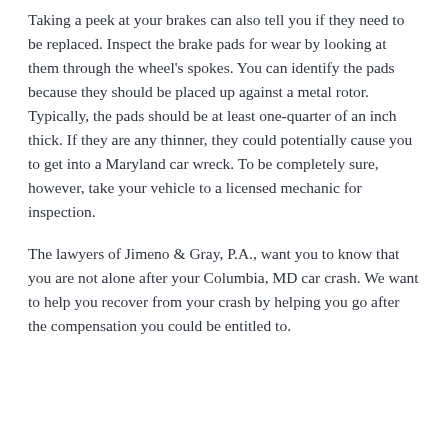Taking a peek at your brakes can also tell you if they need to be replaced. Inspect the brake pads for wear by looking at them through the wheel's spokes. You can identify the pads because they should be placed up against a metal rotor. Typically, the pads should be at least one-quarter of an inch thick. If they are any thinner, they could potentially cause you to get into a Maryland car wreck. To be completely sure, however, take your vehicle to a licensed mechanic for inspection.
The lawyers of Jimeno & Gray, P.A., want you to know that you are not alone after your Columbia, MD car crash. We want to help you recover from your crash by helping you go after the compensation you could be entitled to.